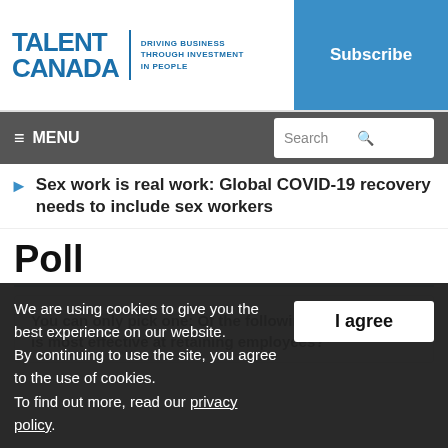TALENT CANADA — DRIVING BUSINESS THROUGH INVESTMENT IN PEOPLE — Subscribe
≡ MENU   Search
Sex work is real work: Global COVID-19 recovery needs to include sex workers
Poll
You can only pick one: Of the following perks, which is most effective at retaining employees? *
We are using cookies to give you the best experience on our website. By continuing to use the site, you agree to the use of cookies. To find out more, read our privacy policy.